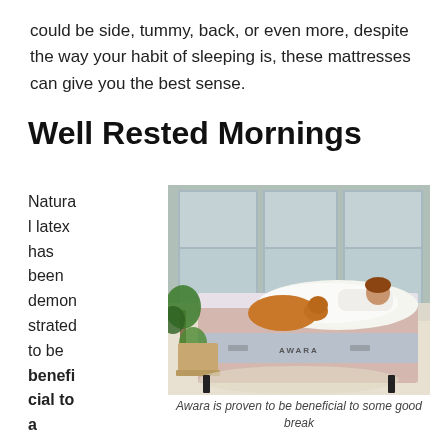could be side, tummy, back, or even more, despite the way your habit of sleeping is, these mattresses can give you the best sense.
Well Rested Mornings
Natural latex has been demonstrated to be beneficial to a
[Figure (photo): A woman lying on an Awara mattress in a bright bedroom with large windows, a dog resting on the bed, and plants nearby.]
Awara is proven to be beneficial to some good break